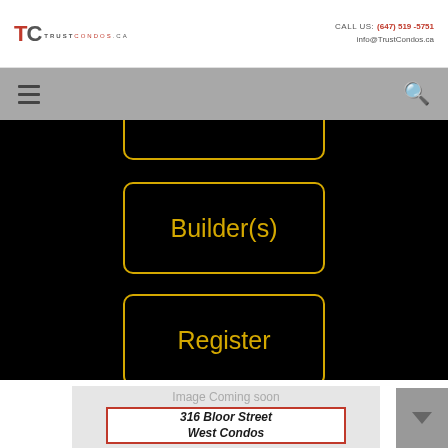TC TRUSTCONDOS.CA | CALL US: (647) 519-5751 | info@TrustCondos.ca
[Figure (screenshot): Navigation bar with hamburger menu icon on left and search icon on right, grey background]
[Figure (screenshot): Black background section with two yellow-outlined buttons: Builder(s) and Register, plus a partial button cropped at top]
[Figure (screenshot): Image placeholder card with text 'Image Coming soon' and address '316 Bloor Street West Condos' with red border]
Image Coming soon
316 Bloor Street West Condos